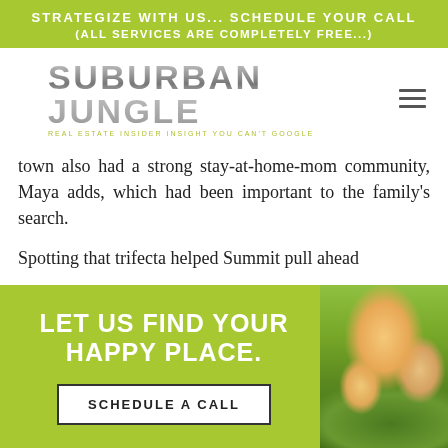STRATEGIZE WITH US... SCHEDULE YOUR CALL (ALL SERVICES ARE COMPLETELY FREE...)
[Figure (logo): Suburban Jungle logo with text 'REAL ESTATE INSIDER INSIGHT YOU CAN'T GOOGLE']
town also had a strong stay-at-home-mom community, Maya adds, which had been important to the family's search.
Spotting that trifecta helped Summit pull ahead
[Figure (infographic): Green CTA banner with 'LET US FIND YOUR HAPPY PLACE.' text, a 'SCHEDULE A CALL' button, and a photo of a smiling family outdoors]